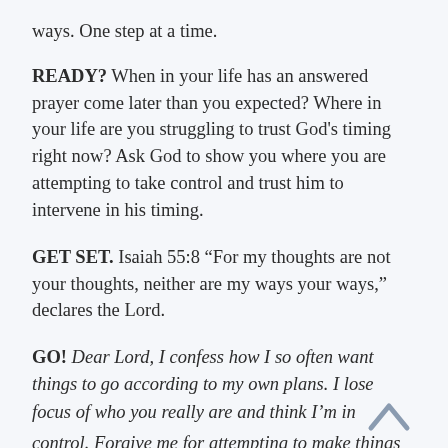ways. One step at a time.
READY? When in your life has an answered prayer come later than you expected? Where in your life are you struggling to trust God's timing right now? Ask God to show you where you are attempting to take control and trust him to intervene in his timing.
GET SET. Isaiah 55:8 “For my thoughts are not your thoughts, neither are my ways your ways,” declares the Lord.
GO! Dear Lord, I confess how I so often want things to go according to my own plans. I lose focus of who you really are and think I’m in control. Forgive me for attempting to make things happen in my timing. Help me to trust your timing and to rest in the truth of who you are.